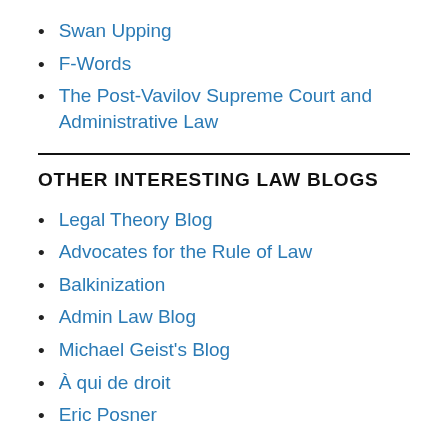Swan Upping
F-Words
The Post-Vavilov Supreme Court and Administrative Law
OTHER INTERESTING LAW BLOGS
Legal Theory Blog
Advocates for the Rule of Law
Balkinization
Admin Law Blog
Michael Geist's Blog
À qui de droit
Eric Posner